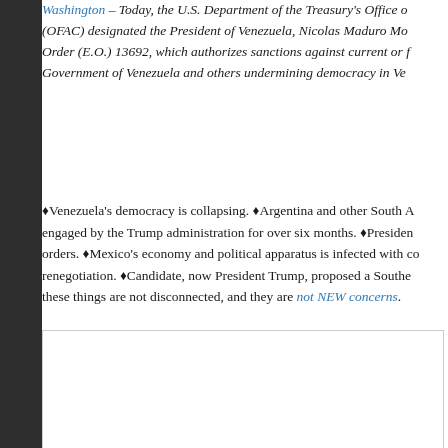Washington – Today, the U.S. Department of the Treasury's Office of (OFAC) designated the President of Venezuela, Nicolas Maduro Mo Order (E.O.) 13692, which authorizes sanctions against current or f Government of Venezuela and others undermining democracy in Ve
♦Venezuela's democracy is collapsing. ♦Argentina and other South A engaged by the Trump administration for over six months. ♦Presiden orders. ♦Mexico's economy and political apparatus is infected with co renegotiation. ♦Candidate, now President Trump, proposed a Southe these things are not disconnected, and they are not NEW concerns.
[Figure (other): Empty white box with light gray border]